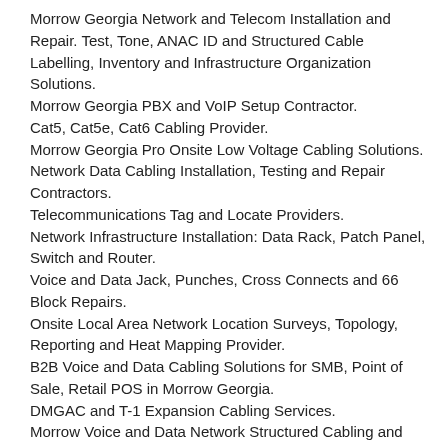Morrow Georgia Network and Telecom Installation and Repair. Test, Tone, ANAC ID and Structured Cable Labelling, Inventory and Infrastructure Organization Solutions.
Morrow Georgia PBX and VoIP Setup Contractor.
Cat5, Cat5e, Cat6 Cabling Provider.
Morrow Georgia Pro Onsite Low Voltage Cabling Solutions.
Network Data Cabling Installation, Testing and Repair Contractors.
Telecommunications Tag and Locate Providers.
Network Infrastructure Installation: Data Rack, Patch Panel, Switch and Router.
Voice and Data Jack, Punches, Cross Connects and 66 Block Repairs.
Onsite Local Area Network Location Surveys, Topology, Reporting and Heat Mapping Provider.
B2B Voice and Data Cabling Solutions for SMB, Point of Sale, Retail POS in Morrow Georgia.
DMGAC and T-1 Expansion Cabling Services.
Morrow Voice and Data Network Structured Cabling and Hardware Testing and Repair Contractors.
Coaxial Structured Cabling for High Speed Internet and CCTV Installations.
Network Cleanup, Cable Management Services.
High Quality Concealed Cabling Contractors.